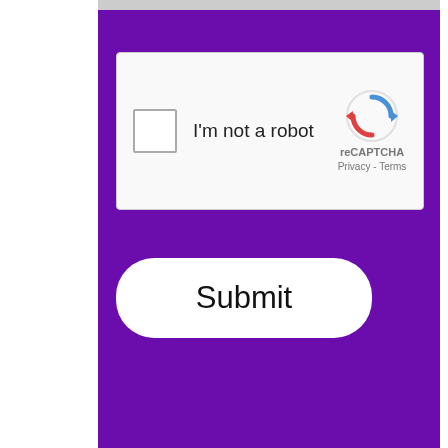[Figure (screenshot): reCAPTCHA widget with checkbox labeled 'I'm not a robot' and reCAPTCHA logo with Privacy and Terms links]
[Figure (screenshot): Submit button - white rounded rectangle with 'Submit' text on purple background]
[Figure (screenshot): Social media sidebar icons: Facebook (blue), Twitter (light blue), Instagram (red/orange)]
[Figure (screenshot): Gray scroll-to-top button with upward chevron]
[Figure (screenshot): Purple footer area with accessibility icon (person in circle)]